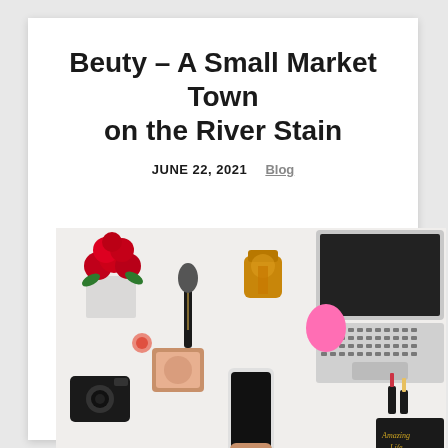Beuty – A Small Market Town on the River Stain
JUNE 22, 2021    Blog
[Figure (photo): Flat-lay photo of beauty and lifestyle items on a white surface including red roses in a vase, makeup brushes, a makeup sponge, cosmetics compact, gold perfume bottle, a smartphone being held, a laptop keyboard, a vintage camera, and a notebook with gold lettering.]